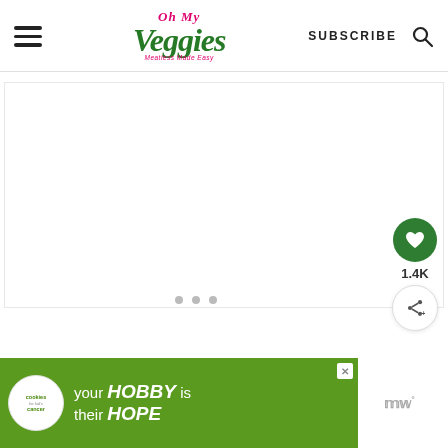Oh My Veggies — Meatless Made Easy | SUBSCRIBE
[Figure (screenshot): Main content area placeholder — white box with light border, three gray dots at bottom (image carousel indicator)]
[Figure (infographic): Floating save button (green circle with heart icon), count 1.4K, and share button (white circle with share icon)]
[Figure (screenshot): Bottom advertisement banner: Cookies for Kid's Cancer ad on green background with text 'your HOBBY is their HOPE' and close button; Mediavine logo on right]